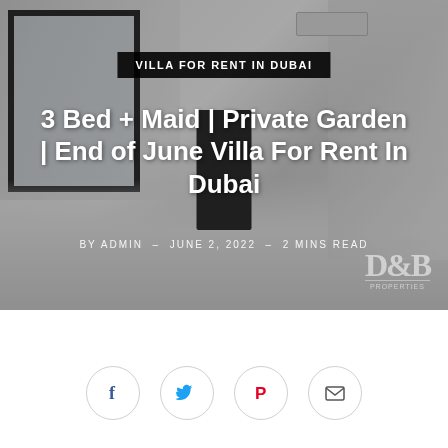[Figure (photo): Interior photo of a modern villa showing an empty room with large windows on the left, a dark door in the center, a corridor on the right, and white walls with marble-effect tile flooring. D&B Properties watermark visible in bottom right corner.]
VILLA FOR RENT IN DUBAI
3 Bed + Maid | Private Garden | End of June Villa For Rent In Dubai
BY ADMIN – JUNE 2, 2022 – 2 MINS READ